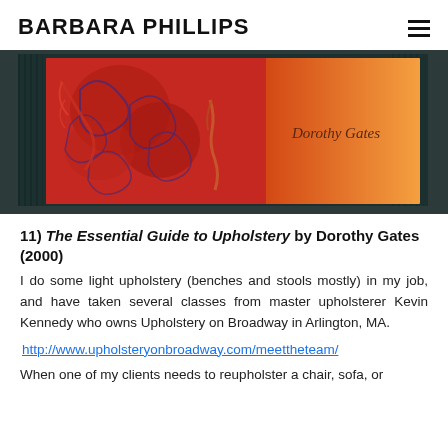BARBARA PHILLIPS
[Figure (photo): Book cover of 'The Essential Guide to Upholstery' by Dorothy Gates, showing red fabric with blue floral pattern on the left and an orange gradient background with the author's name on the right.]
11) The Essential Guide to Upholstery by Dorothy Gates (2000)
I do some light upholstery (benches and stools mostly) in my job, and have taken several classes from master upholsterer Kevin Kennedy who owns Upholstery on Broadway in Arlington, MA.
http://www.upholsteryonbroadway.com/meettheteam/
When one of my clients needs to reupholster a chair, sofa, or